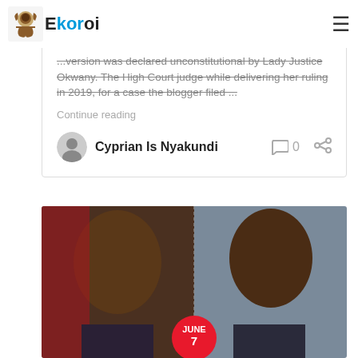Ekoroi
...version was declared unconstitutional by Lady Justice Okwany. The High Court judge while delivering her ruling in 2019, for a case the blogger filed ...
Continue reading
Cyprian Is Nyakundi
[Figure (photo): Two African men side by side in a composite photo. Left: an older man in a suit smiling, with a red Kenyan flag in the background. Right: a serious-looking man in a suit with a yellow tie against a grey background. Red circular date badge overlay shows JUNE 7.]